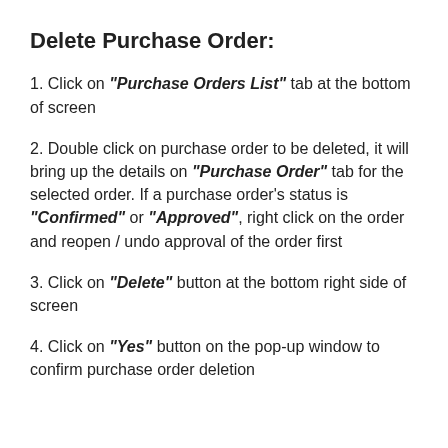Delete Purchase Order:
1. Click on "Purchase Orders List" tab at the bottom of screen
2. Double click on purchase order to be deleted, it will bring up the details on "Purchase Order" tab for the selected order. If a purchase order's status is "Confirmed" or "Approved", right click on the order and reopen / undo approval of the order first
3. Click on "Delete" button at the bottom right side of screen
4. Click on "Yes" button on the pop-up window to confirm purchase order deletion